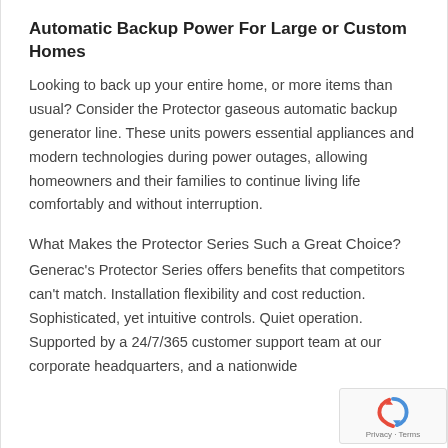Automatic Backup Power For Large or Custom Homes
Looking to back up your entire home, or more items than usual? Consider the Protector gaseous automatic backup generator line. These units powers essential appliances and modern technologies during power outages, allowing homeowners and their families to continue living life comfortably and without interruption.
What Makes the Protector Series Such a Great Choice?
Generac's Protector Series offers benefits that competitors can't match. Installation flexibility and cost reduction. Sophisticated, yet intuitive controls. Quiet operation. Supported by a 24/7/365 customer support team at our corporate headquarters, and a nationwide